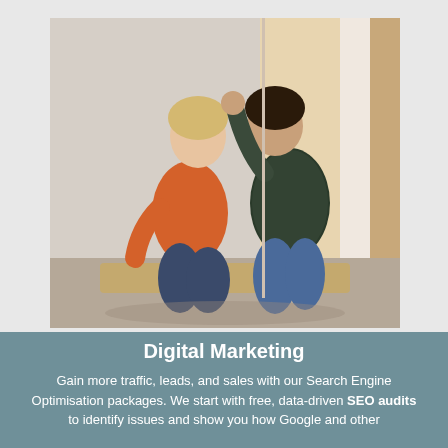[Figure (photo): Two people sitting on a window bench, one with short blonde hair wearing an orange top, the other with dark hair wearing a dark patterned top, facing each other in a bright indoor setting]
Digital Marketing
Gain more traffic, leads, and sales with our Search Engine Optimisation packages. We start with free, data-driven SEO audits to identify issues and show you how Google and other